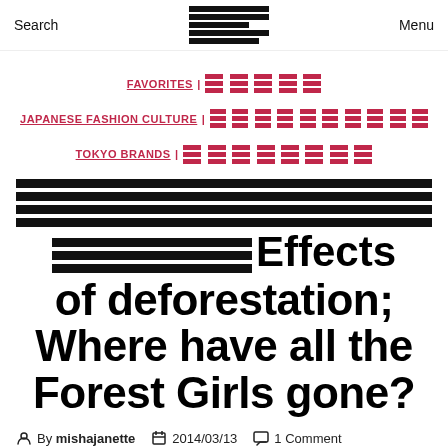Search | [logo/redacted] | Menu
FAVORITES | JAPANESE FASHION CULTURE | TOKYO BRANDS
Effects of deforestation; Where have all the Forest Girls gone?
By mishajanette  2014/03/13  1 Comment